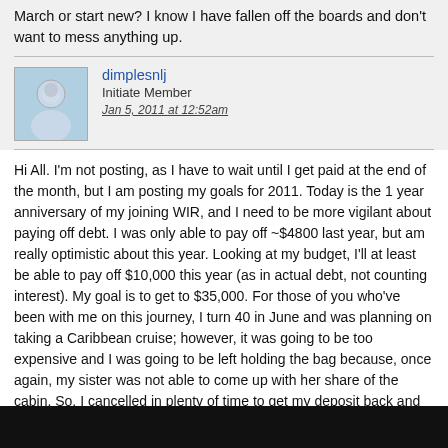March or start new? I know I have fallen off the boards and don't want to mess anything up.
dimplesnlj
Initiate Member
Jan 5, 2011 at 12:52am
Hi All. I'm not posting, as I have to wait until I get paid at the end of the month, but I am posting my goals for 2011. Today is the 1 year anniversary of my joining WIR, and I need to be more vigilant about paying off debt. I was only able to pay off ~$4800 last year, but am really optimistic about this year. Looking at my budget, I'll at least be able to pay off $10,000 this year (as in actual debt, not counting interest). My goal is to get to $35,000. For those of you who've been with me on this journey, I turn 40 in June and was planning on taking a Caribbean cruise; however, it was going to be too expensive and I was going to be left holding the bag because, once again, my sister was not able to come up with her share of the cabin. So, I cancelled in plenty of time to get my deposit back and will instead go to Charleston, SC. That's a place that I've always wanted to visit both for its history and architecture, so I'm looking forward to it. I will have enough saved where nothing has to be put on a credit card and I'm excited about that. Plus, two of my good friends will be accompanying me and they're excited as well. So, this seems to be the year, finally, that I start making financial decisions that work best for ME without feeling guilty about doing so. Hope everyone's new year has gotten off to a great start thus far.